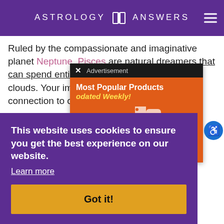ASTROLOGY ANSWERS
Ruled by the compassionate and imaginative planet Neptune, Pisces are natural dreamers that can spend entire hours on... the clouds. Your imagination... our connection to otherworldly...
[Figure (screenshot): Advertisement popup with dark top bar showing X close button and 'Advertisement' label, orange body with 'Most Popular Products' title, 'odated Weekly!' subtitle in yellow, and shopping/product icons illustration]
This website uses cookies to ensure you get the best experience on our website.
Learn more
Got it!
u also ikely ring. n. p